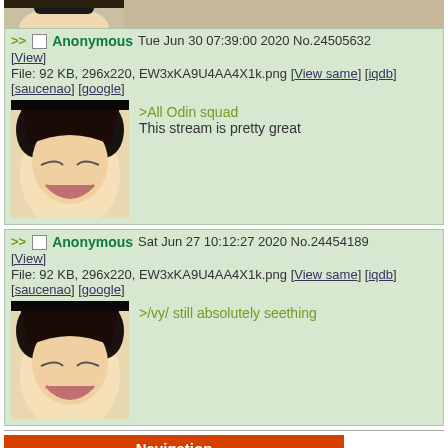[Figure (illustration): Partial top of anime character thumbnail]
>> Anonymous Tue Jun 30 07:39:00 2020 No.24505632 [View] File: 92 KB, 296x220, EW3xKA9U4AA4X1k.png [View same] [iqdb] [saucenao] [google] >All Odin squad This stream is pretty great
[Figure (illustration): Anime character face with black hair, eyes closed, smiling/open mouth]
>> Anonymous Sat Jun 27 10:12:27 2020 No.24454189 [View] File: 92 KB, 296x220, EW3xKA9U4AA4X1k.png [View same] [iqdb] [saucenao] [google] >/vy/ still absolutely seething
[Figure (illustration): Anime character face with black hair, eyes closed, smiling/open mouth]
Navigation
View posts [-96] [-48] [-24] [+24] [+48] [+96]